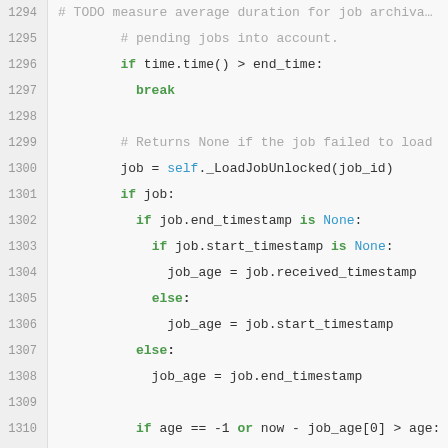[Figure (screenshot): Python source code snippet showing lines 1294–1319 of a job archiving function. The code includes conditionals for checking job timestamps, appending to a pending list, and archiving jobs in batches of 10.]